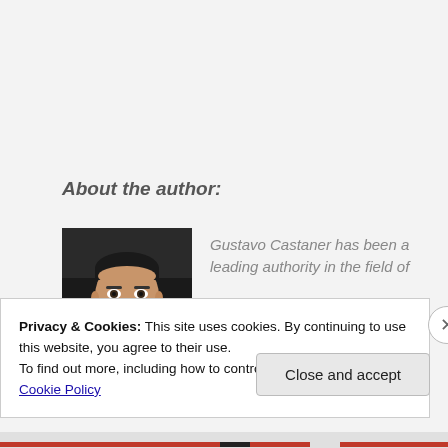About the author:
[Figure (photo): Headshot photo of Gustavo Castaner, a man with short dark hair against a dark background]
Gustavo Castaner has been a leading authority in the field of
Privacy & Cookies: This site uses cookies. By continuing to use this website, you agree to their use.
To find out more, including how to control cookies, see here: Cookie Policy